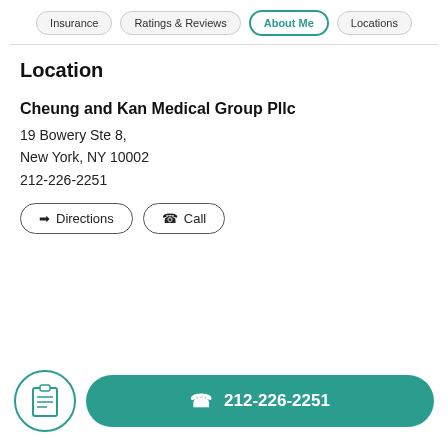Insurance | Ratings & Reviews | About Me | Locations
Location
Cheung and Kan Medical Group Pllc
19 Bowery Ste 8,
New York, NY 10002
212-226-2251
Directions
Call
212-226-2251